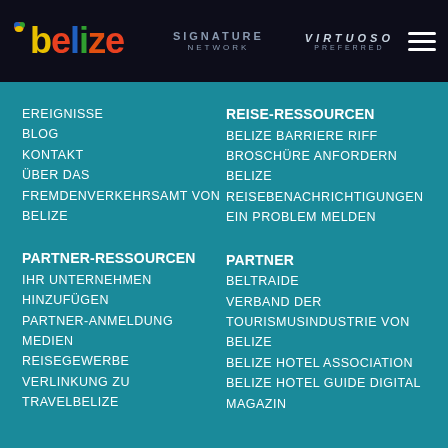belize | SIGNATURE NETWORK | VIRTUOSO PREFERRED
EREIGNISSE
BLOG
KONTAKT
ÜBER DAS FREMDENVERKEHRSAMT VON BELIZE
REISE-RESSOURCEN
BELIZE BARRIERE RIFF
BROSCHÜRE ANFORDERN
BELIZE
REISEBENACHRICHTIGUNGEN
EIN PROBLEM MELDEN
PARTNER-RESSOURCEN
IHR UNTERNEHMEN HINZUFÜGEN
PARTNER-ANMELDUNG
MEDIEN
REISEGEWERBE
VERLINKUNG ZU TRAVELBELIZE
PARTNER
BELTRAIDE
VERBAND DER TOURISMUSINDUSTRIE VON BELIZE
BELIZE HOTEL ASSOCIATION
BELIZE HOTEL GUIDE DIGITAL MAGAZIN